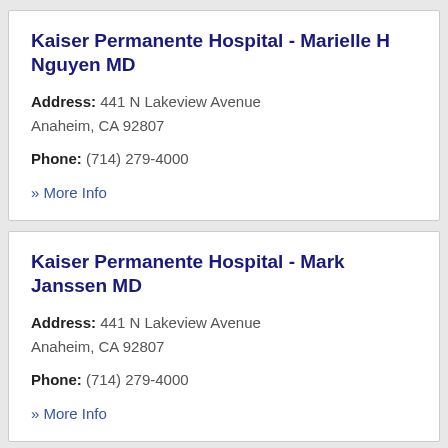Kaiser Permanente Hospital - Marielle H Nguyen MD
Address: 441 N Lakeview Avenue Anaheim, CA 92807
Phone: (714) 279-4000
» More Info
Kaiser Permanente Hospital - Mark Janssen MD
Address: 441 N Lakeview Avenue Anaheim, CA 92807
Phone: (714) 279-4000
» More Info